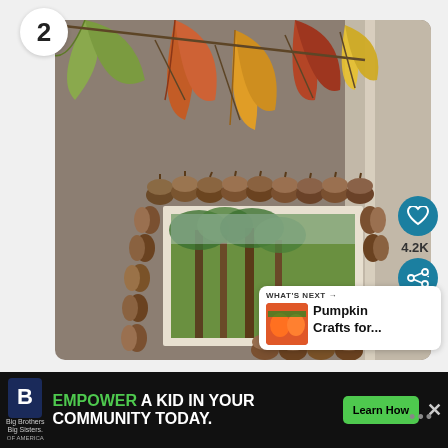2
[Figure (photo): A photo of an autumn-themed picture frame decorated with acorns along the edges, with fall leaves (orange, red, yellow) hanging above. A small nature photo is visible in the frame center, displayed against a grey-brown wall backdrop.]
[Figure (other): Heart/like icon button (teal circle with white heart)]
4.2K
[Figure (other): Share icon button (teal circle with share symbol)]
WHAT'S NEXT → Pumpkin Crafts for...
EMPOWER A KID IN YOUR COMMUNITY TODAY.
Big Brothers Big Sisters of America
Learn How